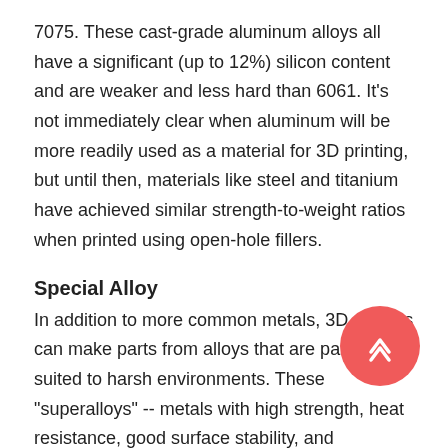7075. These cast-grade aluminum alloys all have a significant (up to 12%) silicon content and are weaker and less hard than 6061. It's not immediately clear when aluminum will be more readily used as a material for 3D printing, but until then, materials like steel and titanium have achieved similar strength-to-weight ratios when printed using open-hole fillers.
Special Alloy
In addition to more common metals, 3D printers can make parts from alloys that are particularly suited to harsh environments. These "superalloys" -- metals with high strength, heat resistance, good surface stability, and resistance to corrosion or oxidation -- can be used in a variety of high-performance applications. Two subgroups are most common: Inconel and cobalt-chromium.
Inconel
Inconel is the most common and well-known proprietary nickel